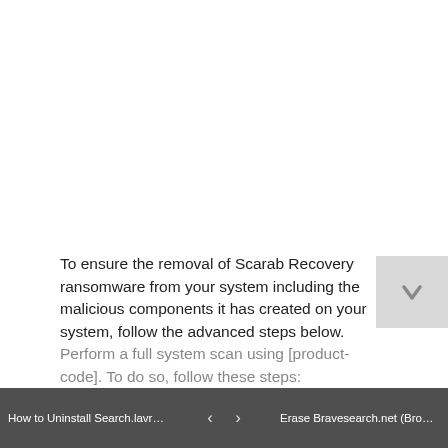To ensure the removal of Scarab Recovery ransomware from your system including the malicious components it has created on your system, follow the advanced steps below.
Perform a full system scan using [product-code]. To do so, follow these steps:
How to Uninstall Search.lavradoor.... | < > | Erase Bravesearch.net (Browser Hi...